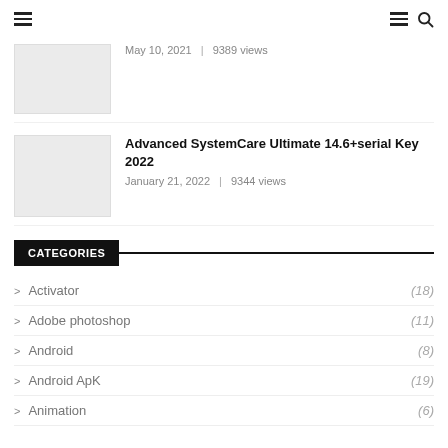Navigation header with hamburger menu and search icon
May 10, 2021  |  9389 views
Advanced SystemCare Ultimate 14.6+serial Key 2022
January 21, 2022  |  9344 views
CATEGORIES
Activator (18)
Adobe photoshop (11)
Android (8)
Android ApK (19)
Animation (6)